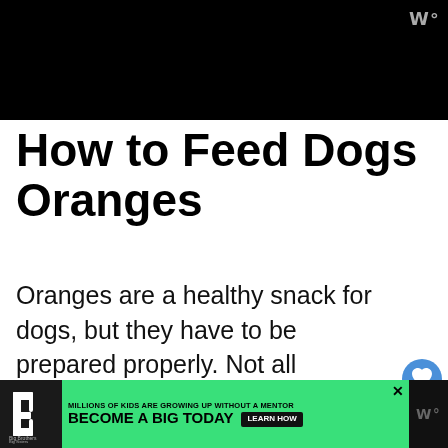[Figure (photo): Black rectangle representing a video or image placeholder at the top of the article]
How to Feed Dogs Oranges
Oranges are a healthy snack for dogs, but they have to be prepared properly. Not all elements of the orange is safe and good for dogs.
[Figure (photo): Thumbnail image of a bee/flower for 'What's Next' sidebar]
WHAT'S NEXT → When Are Bees Least...
[Figure (screenshot): Bottom dark video player area]
[Figure (logo): Big Brothers Big Sisters of America logo in ad banner]
MILLIONS OF KIDS ARE GROWING UP WITHOUT A MENTOR BECOME A BIG TODAY Learn How